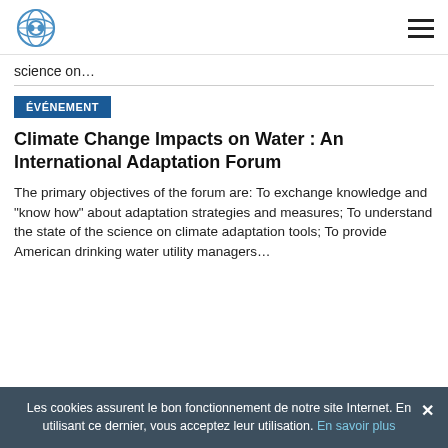[Logo] [Hamburger menu]
science on…
ÉVÉNEMENT
Climate Change Impacts on Water : An International Adaptation Forum
The primary objectives of the forum are: To exchange knowledge and "know how" about adaptation strategies and measures; To understand the state of the science on climate adaptation tools; To provide American drinking water utility managers…
Les cookies assurent le bon fonctionnement de notre site Internet. En utilisant ce dernier, vous acceptez leur utilisation. En savoir plus